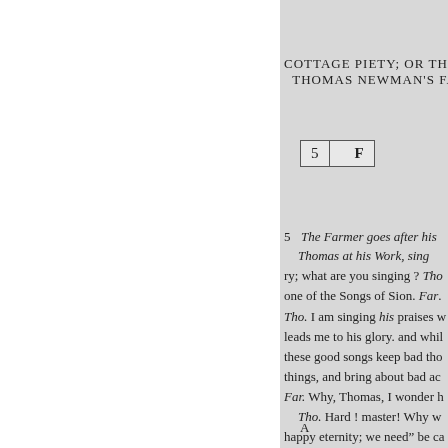COTTAGE PIETY; OR THE G
THOMAS NEWMAN'S FA
| 5 | F |
5   The Farmer goes after his
Thomas at his Work, sing
ry; what are you singing ? Tho
one of the Songs of Sion. Far.
Tho. I am singing his praises w
leads me to his glory. and whil
these good songs keep bad tho
things, and bring about bad ac
Far. Why, Thomas, I wonder h
Tho. Hard ! master! Why w
happy eternity; we need" be ca
our requests known unto God.
A